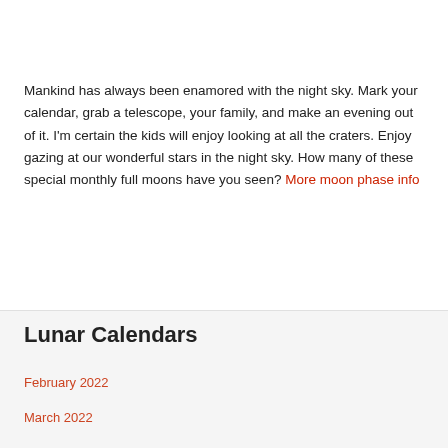BLANKCALENDARPAGES
Mankind has always been enamored with the night sky. Mark your calendar, grab a telescope, your family, and make an evening out of it. I'm certain the kids will enjoy looking at all the craters. Enjoy gazing at our wonderful stars in the night sky. How many of these special monthly full moons have you seen? More moon phase info
Lunar Calendars
February 2022
March 2022